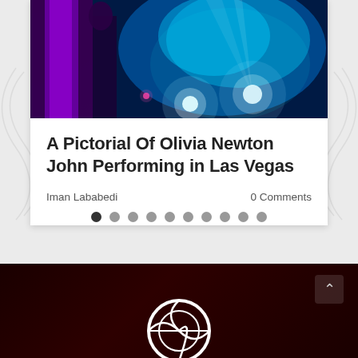[Figure (photo): Concert photo showing stage lighting with blue/cyan and purple/pink lights and a partially visible performer]
A Pictorial Of Olivia Newton John Performing in Las Vegas
Iman Lababedi    0 Comments
[Figure (other): Carousel pagination dots — 10 dots, first one dark (active), rest gray]
[Figure (logo): Partial logo in dark red footer — white circular logo with basketball-style lines, bottom portion visible]